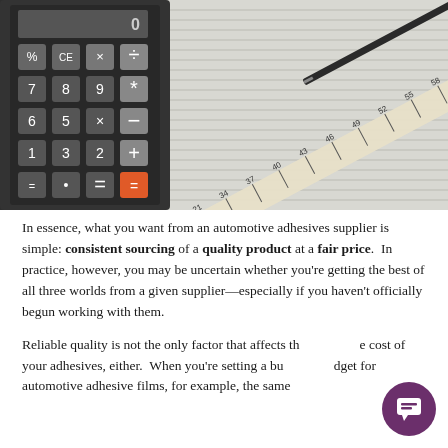[Figure (photo): Close-up photograph of a dark calculator with number keys (3, 6, X, *, +, =, dot visible) on the left side, and a ruler with numbers (21, 34, 37, 40, 43, 46, 49, 52, 55, 58) and a pen/pencil on the right side, all on a lined paper or ledger sheet background.]
In essence, what you want from an automotive adhesives supplier is simple: consistent sourcing of a quality product at a fair price.  In practice, however, you may be uncertain whether you're getting the best of all three worlds from a given supplier—especially if you haven't officially begun working with them.
Reliable quality is not the only factor that affects the cost of your adhesives, either.  When you're setting a budget for automotive adhesive films, for example, the same